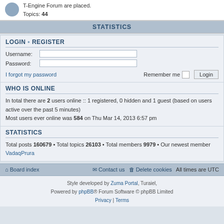T-Engine Forum are placed. Topics: 44
STATISTICS
LOGIN • REGISTER
Username:
Password:
I forgot my password   Remember me  Login
WHO IS ONLINE
In total there are 2 users online :: 1 registered, 0 hidden and 1 guest (based on users active over the past 5 minutes)
Most users ever online was 584 on Thu Mar 14, 2013 6:57 pm
STATISTICS
Total posts 160679 • Total topics 26103 • Total members 9979 • Our newest member VadaqPrura
Board index   Contact us   Delete cookies   All times are UTC
Style developed by Zuma Portal, Turaiel,
Powered by phpBB® Forum Software © phpBB Limited
Privacy | Terms